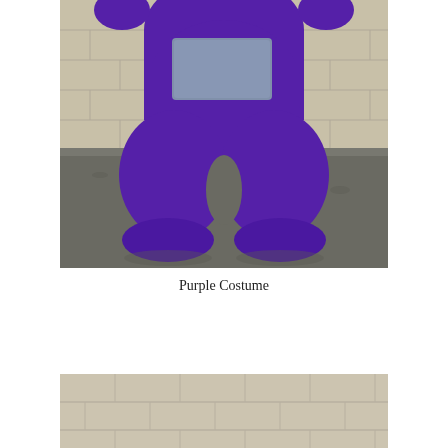[Figure (photo): A person wearing a full-body purple costume (resembling a Teletubby character) standing against a concrete block wall. The costume is bright purple with puffy legs and feet, and a rectangular grey/blue patch on the midsection. The lower body and feet are visible; the photo is cropped at the torso level.]
Purple Costume
[Figure (photo): Partial view of a concrete block wall at the bottom of the page, showing the top portion of a similar scene or background, cropped.]